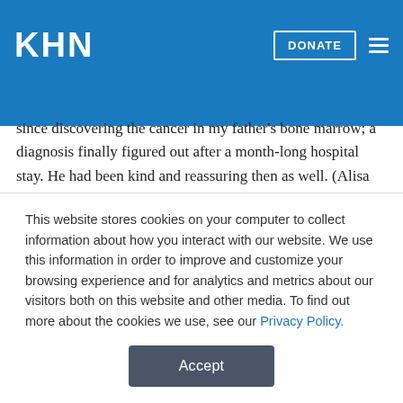KHN
since discovering the cancer in my father's bone marrow; a diagnosis finally figured out after a month-long hospital stay. He had been kind and reassuring then as well. (Alisa Schindler, 11/24)
Stat: Descovy Trials Didn't Include Cisgender Women. That Was A Bad Call
Of the estimated 38 million people living with HIV around the world, more than half are women. Women, especially young
This website stores cookies on your computer to collect information about how you interact with our website. We use this information in order to improve and customize your browsing experience and for analytics and metrics about our visitors both on this website and other media. To find out more about the cookies we use, see our Privacy Policy.